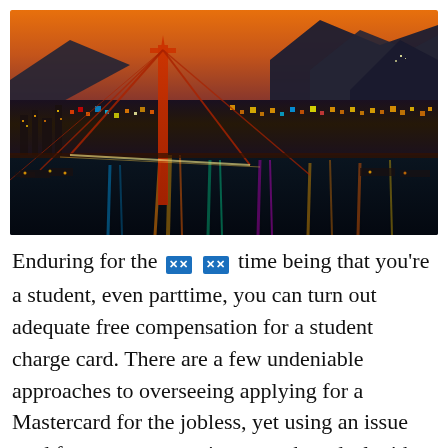[Figure (photo): Night cityscape photo of a city with a large suspension bridge in the foreground lit in red/orange, colorful city lights and reflections in the water below, mountains in the background under an orange-blue twilight sky.]
Enduring for the 🔲🔲 🔲🔲 time being that you're a student, even parttime, you can turn out adequate free compensation for a student charge card. There are a few undeniable approaches to overseeing applying for a Mastercard for the jobless, yet using an issue card for no compensation or cash to deal with your congruity is an incredible thought, so be